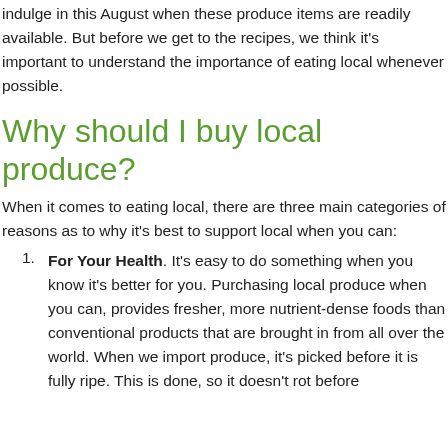indulge in this August when these produce items are readily available. But before we get to the recipes, we think it's important to understand the importance of eating local whenever possible.
Why should I buy local produce?
When it comes to eating local, there are three main categories of reasons as to why it's best to support local when you can:
For Your Health. It's easy to do something when you know it's better for you. Purchasing local produce when you can, provides fresher, more nutrient-dense foods than conventional products that are brought in from all over the world. When we import produce, it's picked before it is fully ripe. This is done, so it doesn't rot before